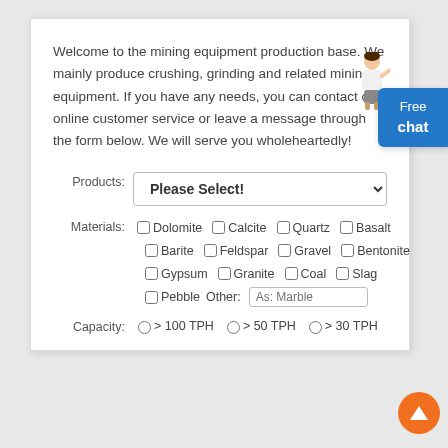Welcome to the mining equipment production base. We mainly produce crushing, grinding and related mining equipment. If you have any needs, you can contact our online customer service or leave a message through the form below. We will serve you wholeheartedly!
Products: [Please Select! dropdown]
Materials: □ Dolomite □ Calcite □ Quartz □ Basalt □ Barite □ Feldspar □ Gravel □ Bentonite □ Gypsum □ Granite □ Coal □ Slag □ Pebble Other: [As: Marble text field]
Capacity: ○ > 100 TPH ○ > 50 TPH ○ > 30 TPH